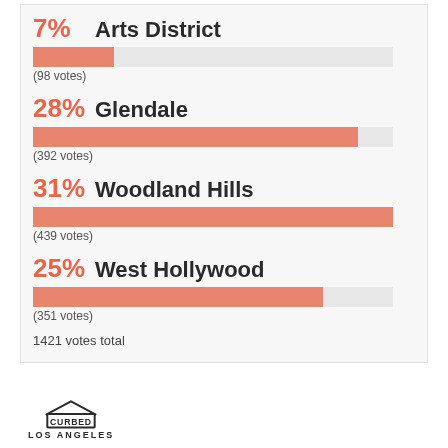[Figure (bar-chart): Poll results by neighborhood]
1421 votes total
[Figure (logo): Curbed Los Angeles logo]